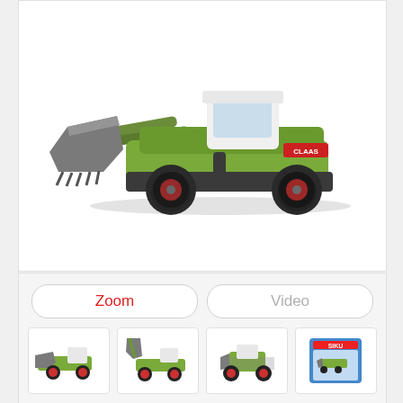[Figure (photo): A die-cast toy model of a CLAAS front loader / wheel loader in olive green with a grey/black bucket, red wheel hubs, and a white cab roof. The model is shown in profile on a white background.]
[Figure (screenshot): Bottom panel showing two buttons: 'Zoom' (in red) and 'Video' (in grey), and four thumbnail images of the same CLAAS loader toy model from different angles, plus one thumbnail showing the product in its packaging.]